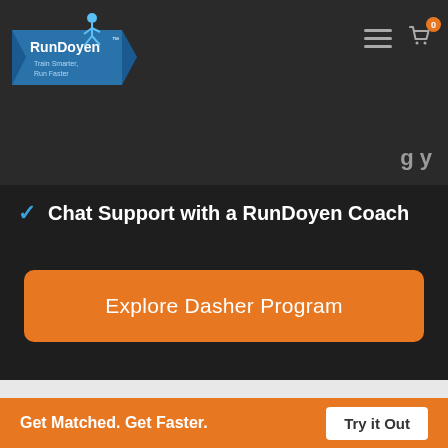[Figure (logo): RunDoyen logo with blue banner, runner figure, and tagline 'Train Smarter. Run Faster.']
Chat Support with a RunDoyen Coach
Explore Dasher Program
Featured In
Get Matched. Get Faster.
Try it Out